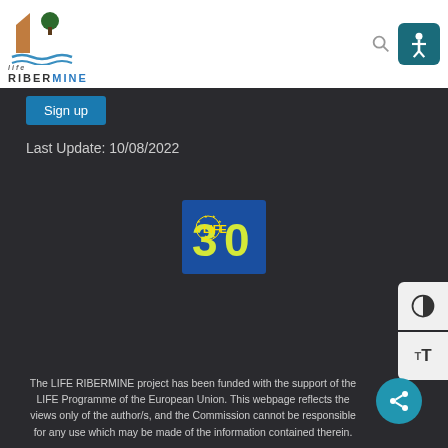[Figure (logo): LIFE RIBERMINE project logo with stylized cliff, tree and water waves]
Sign up
Last Update: 10/08/2022
[Figure (logo): LIFE Programme 30th anniversary logo — blue square with green/yellow '30' and EU stars circle]
The LIFE RIBERMINE project has been funded with the support of the LIFE Programme of the European Union. This webpage reflects the views only of the author/s, and the Commission cannot be responsible for any use which may be made of the information contained therein.